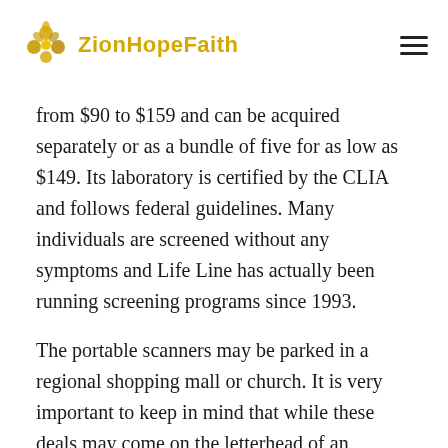ZionHopeFaith
from $90 to $159 and can be acquired separately or as a bundle of five for as low as $149. Its laboratory is certified by the CLIA and follows federal guidelines. Many individuals are screened without any symptoms and Life Line has actually been running screening programs since 1993.
The portable scanners may be parked in a regional shopping mall or church. It is very important to keep in mind that while these deals may come on the letterhead of an insurance provider, they are not constantly